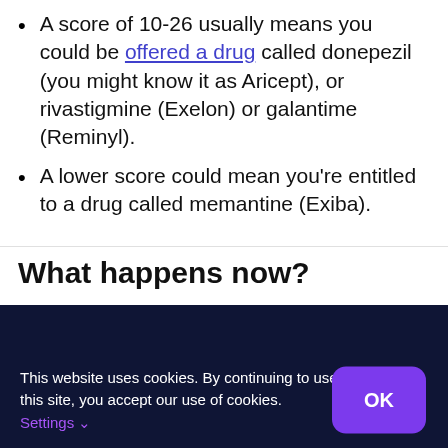A score of 10-26 usually means you could be offered a drug called donepezil (you might know it as Aricept), or rivastigmine (Exelon) or galantime (Reminyl).
A lower score could mean you’re entitled to a drug called memantine (Exiba).
What happens now?
This website uses cookies. By continuing to use this site, you accept our use of cookies. Settings ∨